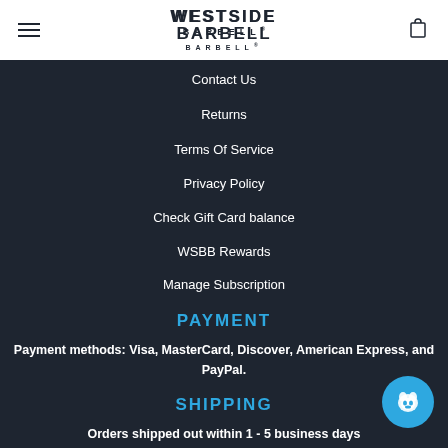WESTSIDE BARBELL
Contact Us
Returns
Terms Of Service
Privacy Policy
Check Gift Card balance
WSBB Rewards
Manage Subscription
PAYMENT
Payment methods: Visa, MasterCard, Discover, American Express, and PayPal.
SHIPPING
Orders shipped out within 1 - 5 business days